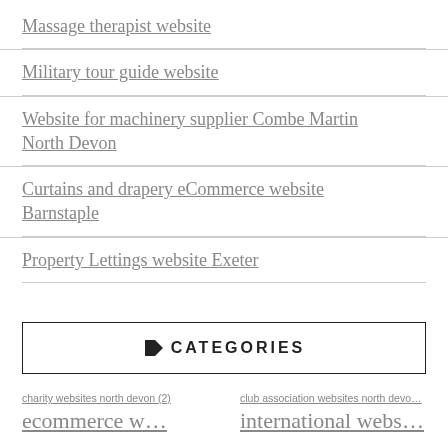Massage therapist website
Military tour guide website
Website for machinery supplier Combe Martin North Devon
Curtains and drapery eCommerce website Barnstaple
Property Lettings website Exeter
CATEGORIES
charity websites north devon (2)
club association websites north devo…
ecommerce w…
international webs…